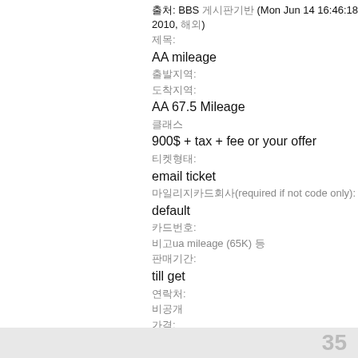출처: BBS 게시판기반 (Mon Jun 14 16:46:18 2010, 해외)
제목:
AA mileage
출발지역:
도착지역:
AA 67.5 Mileage
클래스
900$ + tax + fee or your offer
티켓형태:
email ticket
마일리지카드회사(required if not code only):
default
카드번호:
비고ua mileage (65K) 등
판매기간:
till get
연락처:
비공개
가격:
na
카드사 (required for ALL cards!):
35